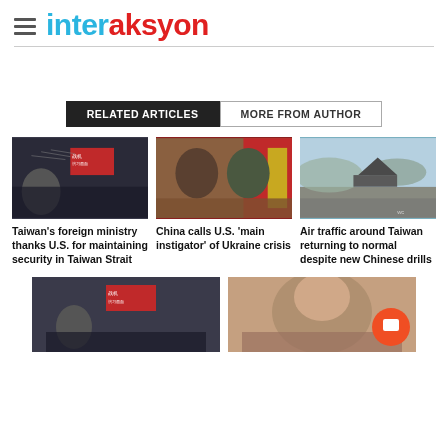interaksyon
RELATED ARTICLES | MORE FROM AUTHOR
[Figure (photo): News broadcast screen showing military aircraft over Taiwan]
Taiwan's foreign ministry thanks U.S. for maintaining security in Taiwan Strait
[Figure (photo): Putin and Xi Jinping shaking hands with Chinese and Russian flags in background]
China calls U.S. 'main instigator' of Ukraine crisis
[Figure (photo): Military jet on runway with mountains in background]
Air traffic around Taiwan returning to normal despite new Chinese drills
[Figure (photo): News broadcast screen showing military aircraft over Taiwan (second instance)]
[Figure (photo): Nancy Pelosi speaking]